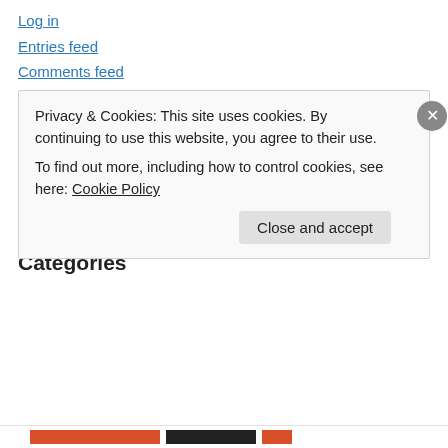Log in
Entries feed
Comments feed
WordPress.com
ALL WORK © 1492 - 2015
BY DAVID EMERON
(unless otherwise noted)
Categories
Privacy & Cookies: This site uses cookies. By continuing to use this website, you agree to their use.
To find out more, including how to control cookies, see here: Cookie Policy
Close and accept